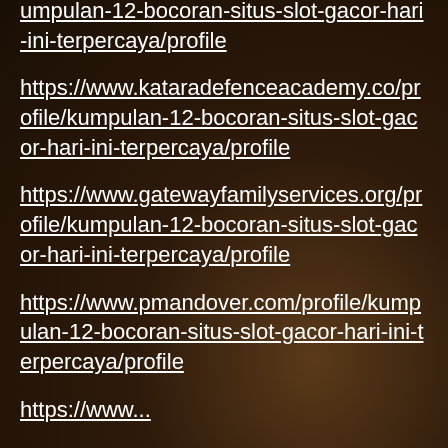umpulan-12-bocoran-situs-slot-gacor-hari-ini-terpercaya/profile (partial top)
https://www.kataradefenceacademy.co/profile/kumpulan-12-bocoran-situs-slot-gacor-hari-ini-terpercaya/profile
https://www.gatewayfamilyservices.org/profile/kumpulan-12-bocoran-situs-slot-gacor-hari-ini-terpercaya/profile
https://www.pmandover.com/profile/kumpulan-12-bocoran-situs-slot-gacor-hari-ini-terpercaya/profile
https://www... (partial bottom)